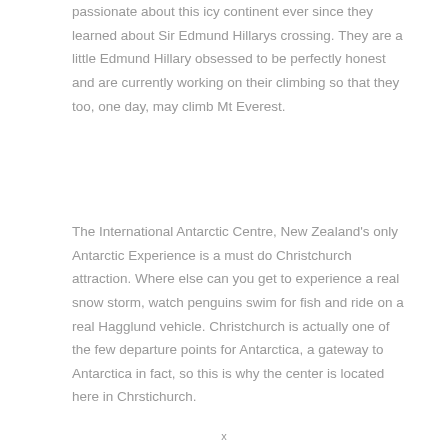passionate about this icy continent ever since they learned about Sir Edmund Hillarys crossing. They are a little Edmund Hillary obsessed to be perfectly honest and are currently working on their climbing so that they too, one day, may climb Mt Everest.
The International Antarctic Centre, New Zealand's only Antarctic Experience is a must do Christchurch attraction. Where else can you get to experience a real snow storm, watch penguins swim for fish and ride on a real Hagglund vehicle. Christchurch is actually one of the few departure points for Antarctica, a gateway to Antarctica in fact, so this is why the center is located here in Chrstichurch.
x